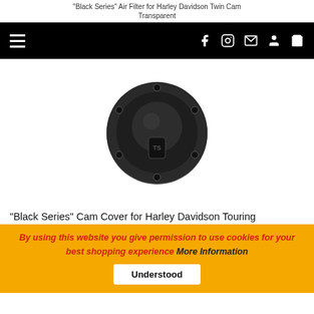"Black Series" Air Filter for Harley Davidson Twin Cam Transparent
[Figure (screenshot): Black navigation bar with hamburger menu on left and social/nav icons (Facebook, Instagram, Email, Account, Cart) on right]
[Figure (photo): Black circular cam cover with TS logo, shown on white background. The cover has a domed center and mounting holes around the perimeter.]
"Black Series" Cam Cover for Harley Davidson Touring
By using this website you give permission to use cookies for your best shopping experience More Information Understood